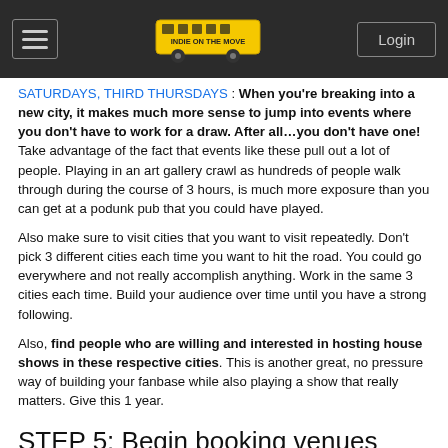Indie on the Move | Login
SATURDAYS, THIRD THURSDAYS : When you're breaking into a new city, it makes much more sense to jump into events where you don't have to work for a draw. After all…you don't have one! Take advantage of the fact that events like these pull out a lot of people. Playing in an art gallery crawl as hundreds of people walk through during the course of 3 hours, is much more exposure than you can get at a podunk pub that you could have played.
Also make sure to visit cities that you want to visit repeatedly. Don't pick 3 different cities each time you want to hit the road. You could go everywhere and not really accomplish anything. Work in the same 3 cities each time. Build your audience over time until you have a strong following.
Also, find people who are willing and interested in hosting house shows in these respective cities. This is another great, no pressure way of building your fanbase while also playing a show that really matters. Give this 1 year.
STEP 5: Begin booking venues
Now that you've got a handle on your 3 cities and also have a fanbase